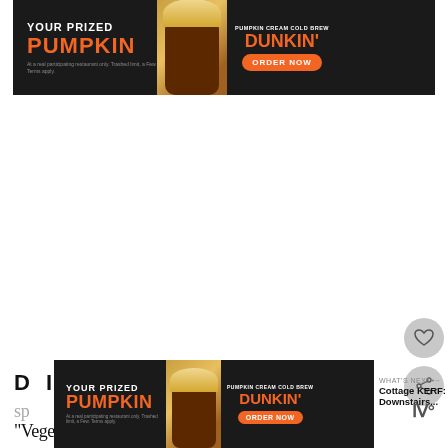[Figure (other): Dunkin' Pumpkin Cream Cold Brew advertisement banner with text 'YOUR PRIZED PUMPKIN' and 'DUNKIN' ORDER NOW']
[Figure (other): Heart/like button icon (circular gray button)]
[Figure (other): Share button icon (circular gray button)]
DINNER
WHAT'S NEXT → Cottage KERF: Downstairs...
“Vegetable cacciatore” (which was really just
[Figure (other): Dunkin' Pumpkin Cream Cold Brew advertisement banner (bottom), same as top ad]
sp
Ⅶ°